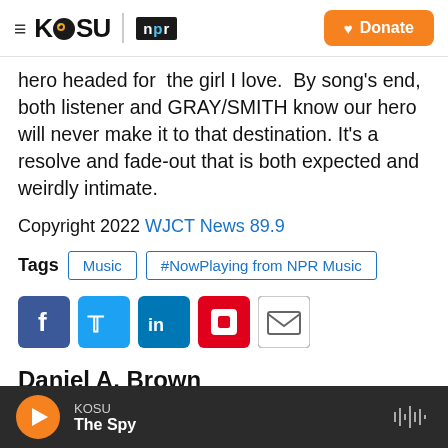KOSU | npr | Donate
hero headed for  the girl I love.  By song's end, both listener and GRAY/SMITH know our hero will never make it to that destination. It's a resolve and fade-out that is both expected and weirdly intimate.
Copyright 2022 WJCT News 89.9
Tags  Music  #NowPlaying from NPR Music
[Figure (other): Social sharing icons: Facebook, Twitter, LinkedIn, Flipboard, Email]
Daniel A. Brown
KOSU | The Spy